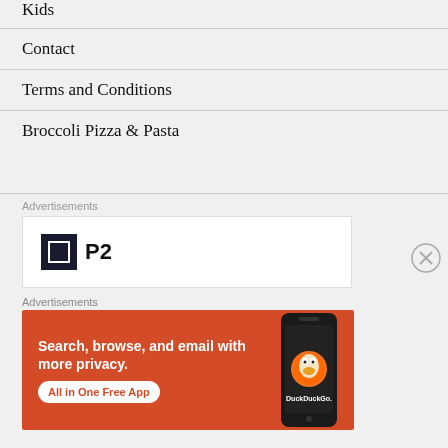Kids
Contact
Terms and Conditions
Broccoli Pizza & Pasta
Advertisements
[Figure (logo): P2 logo - dark square with white border inside, next to bold P2 text]
Advertisements
[Figure (infographic): DuckDuckGo advertisement on orange/red background. Text: Search, browse, and email with more privacy. All in One Free App. Shows a phone with DuckDuckGo logo.]